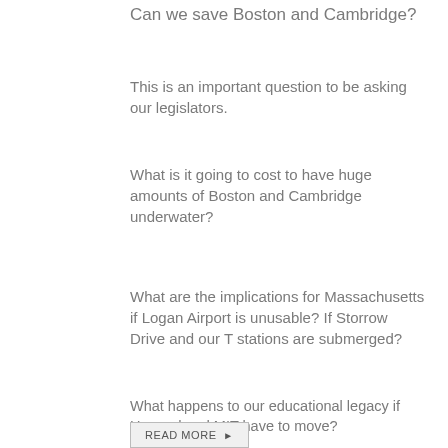Can we save Boston and Cambridge?
This is an important question to be asking our legislators.
What is it going to cost to have huge amounts of Boston and Cambridge underwater?
What are the implications for Massachusetts if Logan Airport is unusable? If Storrow Drive and our T stations are submerged?
What happens to our educational legacy if Harvard and MIT have to move?
READ MORE